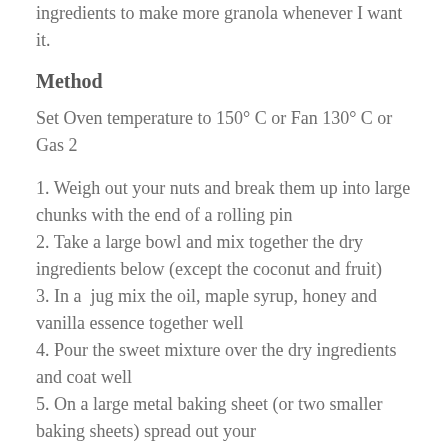ingredients to make more granola whenever I want it.
Method
Set Oven temperature to 150° C or Fan 130° C or Gas 2
1. Weigh out your nuts and break them up into large chunks with the end of a rolling pin
2. Take a large bowl and mix together the dry ingredients below (except the coconut and fruit)
3. In a  jug mix the oil, maple syrup, honey and vanilla essence together well
4. Pour the sweet mixture over the dry ingredients and coat well
5. On a large metal baking sheet (or two smaller baking sheets) spread out your